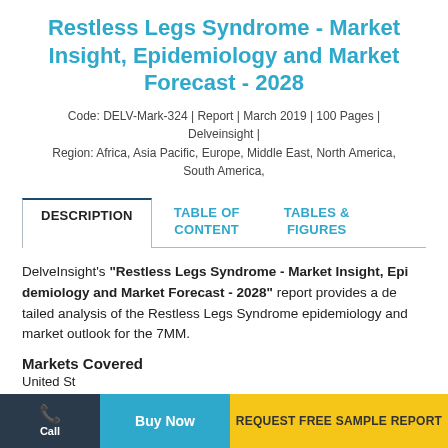Restless Legs Syndrome - Market Insight, Epidemiology and Market Forecast - 2028
Code: DELV-Mark-324 | Report | March 2019 | 100 Pages | Delveinsight | Region: Africa, Asia Pacific, Europe, Middle East, North America, South America,
DESCRIPTION
TABLE OF CONTENT
TABLES & FIGURES
DelveInsight's "Restless Legs Syndrome - Market Insight, Epidemiology and Market Forecast - 2028" report provides a detailed analysis of the Restless Legs Syndrome epidemiology and market outlook for the 7MM.
Markets Covered
United States